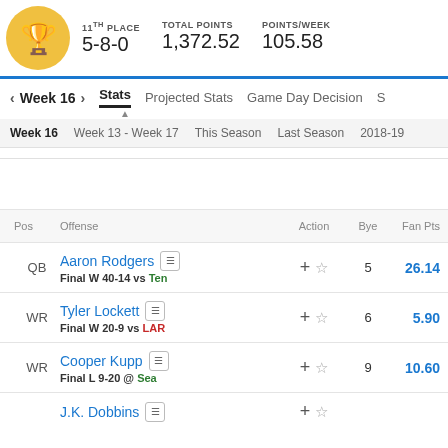11TH PLACE 5-8-0 | TOTAL POINTS 1,372.52 | POINTS/WEEK 105.58
< Week 16 > | Stats | Projected Stats | Game Day Decision | S
Week 16 | Week 13 - Week 17 | This Season | Last Season | 2018-19
| Pos | Offense | Action | Bye | Fan Pts |
| --- | --- | --- | --- | --- |
| QB | Aaron Rodgers
Final W 40-14 vs Ten | +☆ | 5 | 26.14 |
| WR | Tyler Lockett
Final W 20-9 vs LAR | +☆ | 6 | 5.90 |
| WR | Cooper Kupp
Final L 9-20 @ Sea | +☆ | 9 | 10.60 |
|  | J.K. Dobbins | +☆ |  |  |